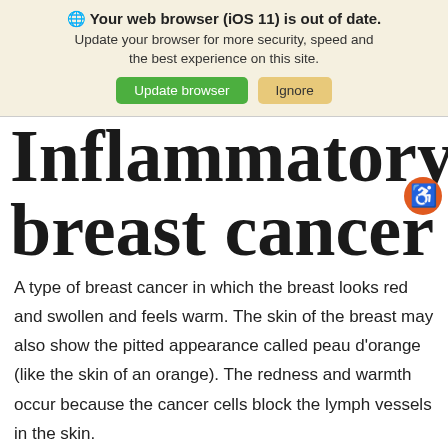Your web browser (iOS 11) is out of date. Update your browser for more security, speed and the best experience on this site.
Inflammatory breast cancer
A type of breast cancer in which the breast looks red and swollen and feels warm. The skin of the breast may also show the pitted appearance called peau d'orange (like the skin of an orange). The redness and warmth occur because the cancer cells block the lymph vessels in the skin.